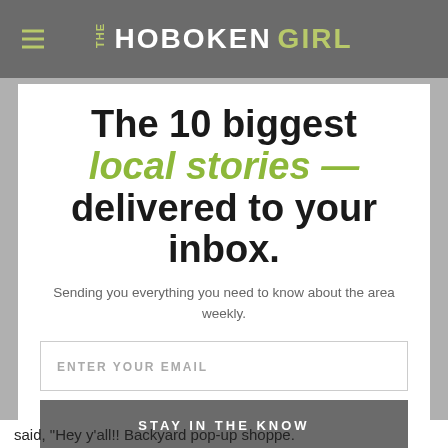THE HOBOKEN GIRL
The 10 biggest local stories — delivered to your inbox.
Sending you everything you need to know about the area weekly.
ENTER YOUR EMAIL
STAY IN THE KNOW
said, "Hey y'all!! Backyard pop-up shoppe.